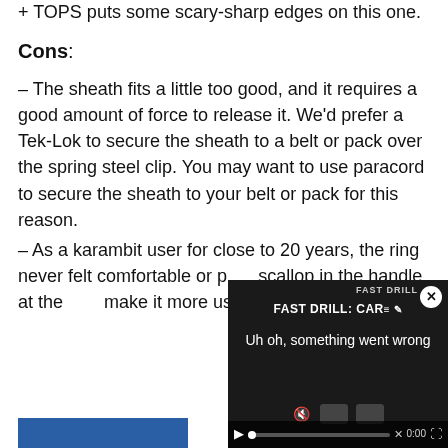+ TOPS puts some scary-sharp edges on this one.
Cons:
– The sheath fits a little too good, and it requires a good amount of force to release it. We'd prefer a Tek-Lok to secure the sheath to a belt or pack over the spring steel clip. You may want to use paracord to secure the sheath to your belt or pack for this reason.
– As a karambit user for close to 20 years, the ring never felt comfortable or p… scallop in the handle at the… make it more user friendly…
[Figure (screenshot): Video player overlay showing 'FAST DRILL: CAR...' with error message 'Uh oh, something went wrong' and video controls at bottom]